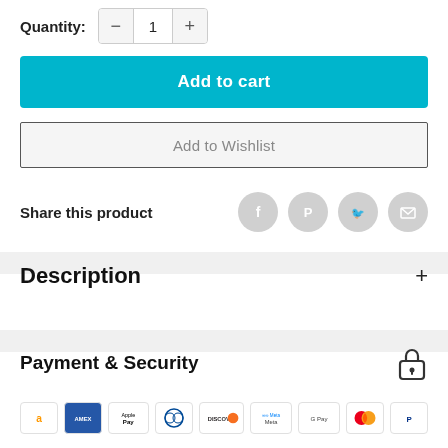Quantity: 1
Add to cart
Add to Wishlist
Share this product
Description
Payment & Security
[Figure (other): Payment method icons: Amazon, Amex, Apple Pay, Diners Club, Discover, Meta Pay, Google Pay, Mastercard, PayPal]